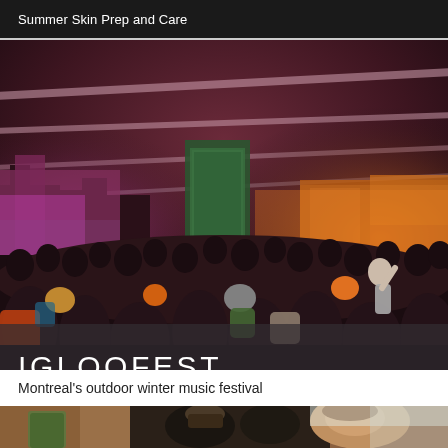Summer Skin Prep and Care
[Figure (photo): Nighttime outdoor winter music festival crowd in Montreal. Large crowd of people bundled in winter coats and hats. Illuminated cityscape in background with colored lights (pink, purple, orange). Light beams in the sky. A large billboard/screen visible in the background.]
IGLOOFEST
Montreal's outdoor winter music festival
[Figure (photo): Bottom strip showing people at what appears to be an outdoor winter market or event, partially visible.]